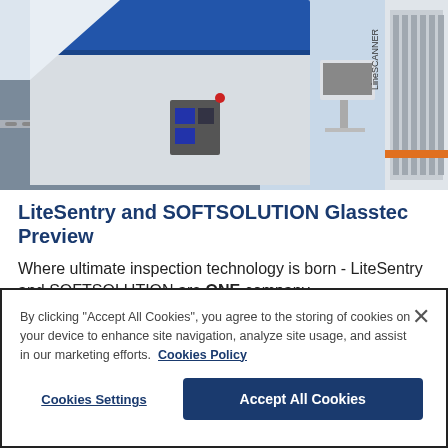[Figure (photo): Industrial glass processing / inspection machine with blue overhead beam, roller conveyor, control panels, and a LineSCANNER unit on the right side]
LiteSentry and SOFTSOLUTION Glasstec Preview
Where ultimate inspection technology is born - LiteSentry and SOFTSOLUTION are ONE company
By clicking "Accept All Cookies", you agree to the storing of cookies on your device to enhance site navigation, analyze site usage, and assist in our marketing efforts.  Cookies Policy
Cookies Settings
Accept All Cookies